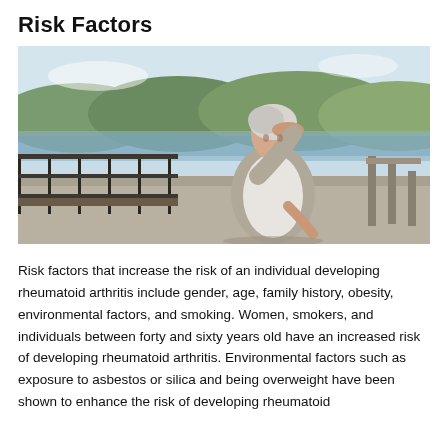Risk Factors
[Figure (photo): Elderly woman with white hair sitting outdoors near a waterfront railing, holding her hand to her head and appearing distressed or in pain. Background shows water, hills with trees, and blue sky.]
Risk factors that increase the risk of an individual developing rheumatoid arthritis include gender, age, family history, obesity, environmental factors, and smoking. Women, smokers, and individuals between forty and sixty years old have an increased risk of developing rheumatoid arthritis. Environmental factors such as exposure to asbestos or silica and being overweight have been shown to enhance the risk of developing rheumatoid